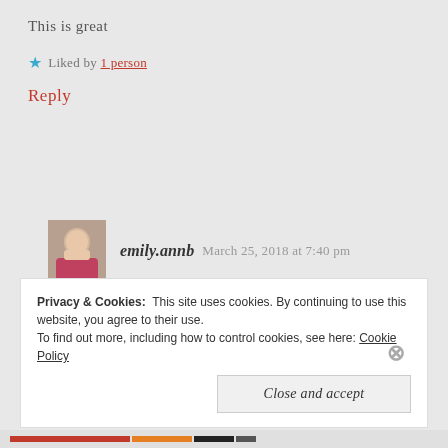This is great
★ Liked by 1 person
Reply
emily.annb  March 25, 2018 at 7:40 pm
Thank you!
★ Liked by 1 person
Privacy & Cookies: This site uses cookies. By continuing to use this website, you agree to their use. To find out more, including how to control cookies, see here: Cookie Policy
Close and accept